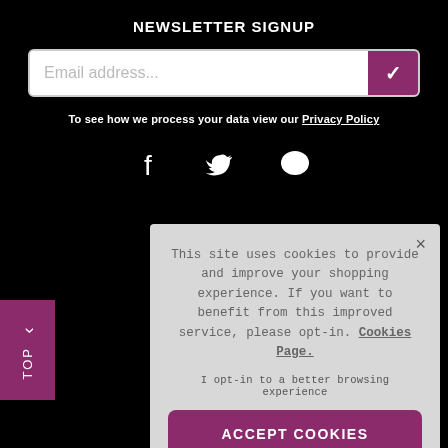NEWSLETTER SIGNUP
Email address...
To see how we process your data view our Privacy Policy
[Figure (other): Social media icons: Facebook (f), Twitter (bird), and chat bubble]
This site uses cookies to provide and improve your shopping experience. If you want to benefit from this improved service, please opt-in. Cookies Page.
I opt-in to a better browsing experience
ACCEPT COOKIES
Delivery Information